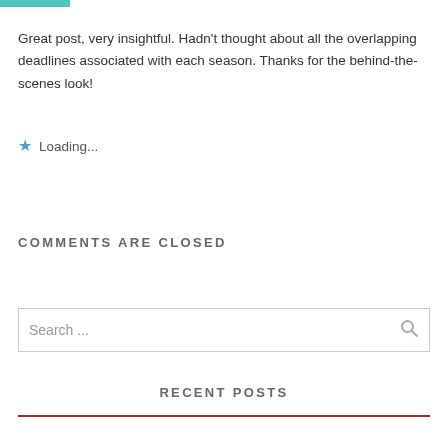Great post, very insightful. Hadn't thought about all the overlapping deadlines associated with each season. Thanks for the behind-the-scenes look!
★ Loading...
COMMENTS ARE CLOSED
Search ...
RECENT POSTS